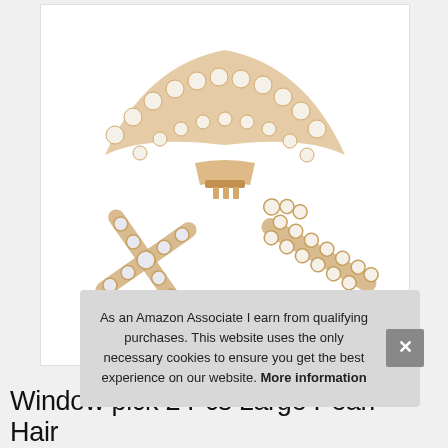[Figure (photo): Product photo of three ornate hair clips/barrettes adorned with pearls and rhinestones on gold-tone metal settings. Top clip is a crescent/banana shape with multiple pearl strands. Bottom left clip is a star/cross shape with crystals. Bottom right clip is an alligator/claw style with pearls.]
As an Amazon Associate I earn from qualifying purchases. This website uses the only necessary cookies to ensure you get the best experience on our website. More information
Window pick 2 Pcs Large Pearl Hair